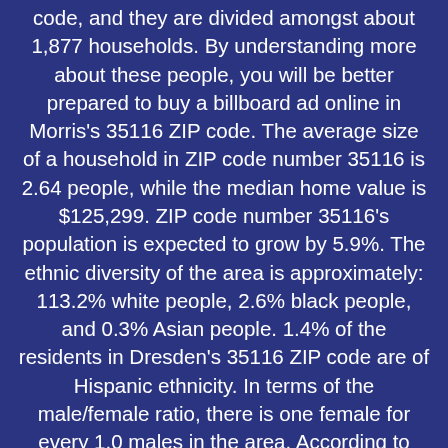code, and they are divided amongst about 1,877 households. By understanding more about these people, you will be better prepared to buy a billboard ad online in Morris's 35116 ZIP code. The average size of a household in ZIP code number 35116 is 2.64 people, while the median home value is $125,299. ZIP code number 35116's population is expected to grow by 5.9%. The ethnic diversity of the area is approximately: 113.2% white people, 2.6% black people, and 0.3% Asian people. 1.4% of the residents in Dresden's 35116 ZIP code are of Hispanic ethnicity. In terms of the male/female ratio, there is one female for every 1.0 males in the area. According to data from The U.S. Census, the 35116 ZIP code of Morris, Alabama has 1 renter for every 6.99 homeowner(s). The average household income in the area is $66,950 while the median household earns $57,642 of income. This area has a